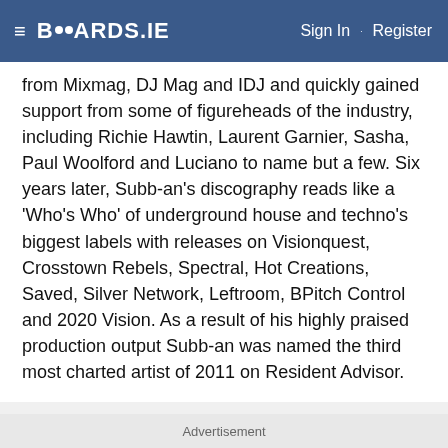BOARDS.IE  Sign In · Register
from Mixmag, DJ Mag and IDJ and quickly gained support from some of figureheads of the industry, including Richie Hawtin, Laurent Garnier, Sasha, Paul Woolford and Luciano to name but a few. Six years later, Subb-an's discography reads like a 'Who's Who' of underground house and techno's biggest labels with releases on Visionquest, Crosstown Rebels, Spectral, Hot Creations, Saved, Silver Network, Leftroom, BPitch Control and 2020 Vision. As a result of his highly praised production output Subb-an was named the third most charted artist of 2011 on Resident Advisor.
THE ONE RECORDS FAMILY
In 2009, Subb-an and Adam Shelton set up their own 'One Records' label as a platform for their own productions alongside tracks from other respected
Advertisement